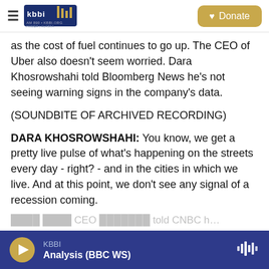KBBI AM 890 KBBI.ORG Homer Alaska — Donate
as the cost of fuel continues to go up. The CEO of Uber also doesn't seem worried. Dara Khosrowshahi told Bloomberg News he's not seeing warning signs in the company's data.
(SOUNDBITE OF ARCHIVED RECORDING)
DARA KHOSROWSHAHI: You know, we get a pretty live pulse of what's happening on the streets every day - right? - and in the cities in which we live. And at this point, we don't see any signal of a recession coming.
KBBI — Analysis (BBC WS)